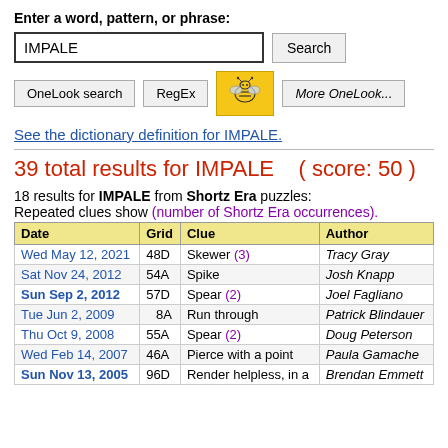Enter a word, pattern, or phrase:
IMPALE [search input] Search
OneLook search | RegEx | [bee icon] | More OneLook...
See the dictionary definition for IMPALE.
39 total results for IMPALE  ( score: 50 )
18 results for IMPALE from Shortz Era puzzles:
Repeated clues show (number of Shortz Era occurrences).
| Date | Grid | Clue | Author |
| --- | --- | --- | --- |
| Wed May 12, 2021 | 48D | Skewer (3) | Tracy Gray |
| Sat Nov 24, 2012 | 54A | Spike | Josh Knapp |
| Sun Sep 2, 2012 | 57D | Spear (2) | Joel Fagliano |
| Tue Jun 2, 2009 | 8A | Run through | Patrick Blindauer |
| Thu Oct 9, 2008 | 55A | Spear (2) | Doug Peterson |
| Wed Feb 14, 2007 | 46A | Pierce with a point | Paula Gamache |
| Sun Nov 13, 2005 | 96D | Render helpless, in a | Brendan Emmett |